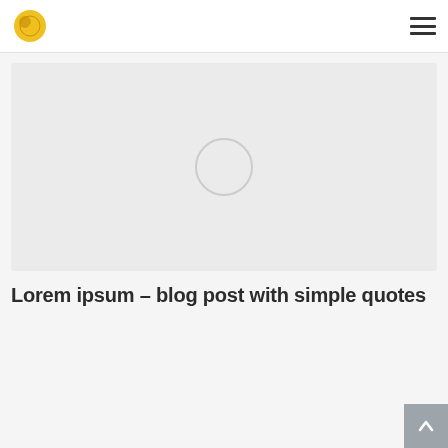[Logo] [Hamburger menu]
[Figure (photo): Large image placeholder with light grey background and a pale circle in the center]
Lorem ipsum – blog post with simple quotes
Marketing • By admin • 2018-11-02 • Leave a comment